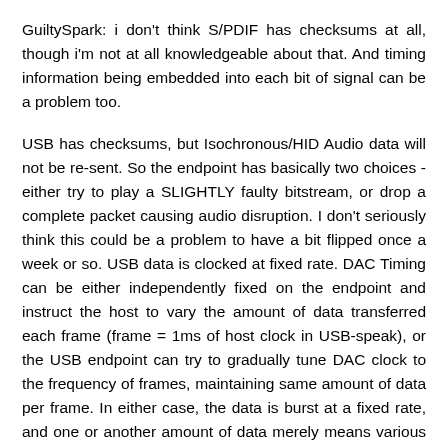GuiltySpark: i don't think S/PDIF has checksums at all, though i'm not at all knowledgeable about that. And timing information being embedded into each bit of signal can be a problem too.
USB has checksums, but Isochronous/HID Audio data will not be re-sent. So the endpoint has basically two choices - either try to play a SLIGHTLY faulty bitstream, or drop a complete packet causing audio disruption. I don't seriously think this could be a problem to have a bit flipped once a week or so. USB data is clocked at fixed rate. DAC Timing can be either independently fixed on the endpoint and instruct the host to vary the amount of data transferred each frame (frame = 1ms of host clock in USB-speak), or the USB endpoint can try to gradually tune DAC clock to the frequency of frames, maintaining same amount of data per frame. In either case, the data is burst at a fixed rate, and one or another amount of data merely means various of unused leftover time each frame.
Reply